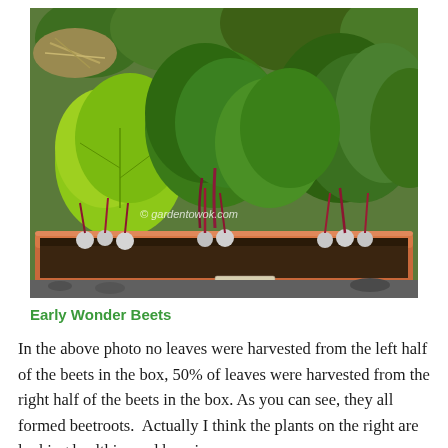[Figure (photo): A terracotta window box planter filled with Early Wonder beet plants showing lush green and red-veined leaves, with small beet bulbs visible at soil level. Watermark reads '© gardentowok.com'.]
Early Wonder Beets
In the above photo no leaves were harvested from the left half of the beets in the box, 50% of leaves were harvested from the right half of the beets in the box. As you can see, they all formed beetroots.  Actually I think the plants on the right are looking healthier and happier.